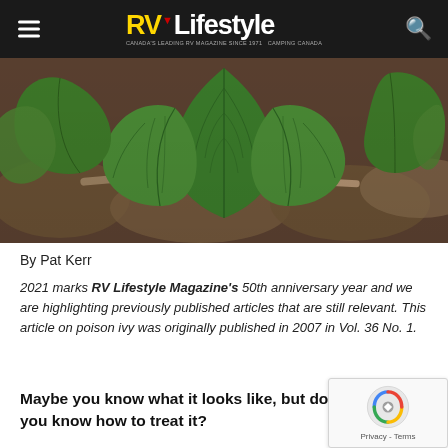RV Lifestyle — Canada's leading RV magazine since 1971
[Figure (photo): Close-up photo of large green poison ivy leaves against a blurred background of forest floor with brown fallen leaves and a stick/branch visible.]
By Pat Kerr
2021 marks RV Lifestyle Magazine's 50th anniversary year and we are highlighting previously published articles that are still relevant. This article on poison ivy was originally published in 2007 in Vol. 36 No. 1.
Maybe you know what it looks like, but do you know how to treat it?